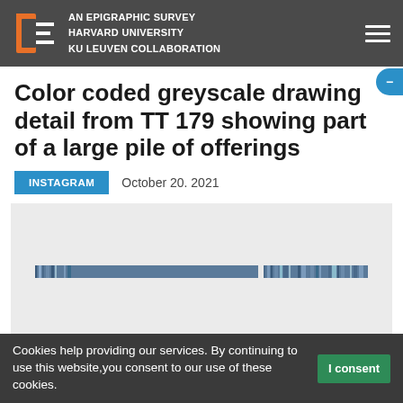AN EPIGRAPHIC SURVEY HARVARD UNIVERSITY KU LEUVEN COLLABORATION
Color coded greyscale drawing detail from TT 179 showing part of a large pile of offerings
INSTAGRAM   October 20. 2021
[Figure (photo): Color coded greyscale drawing detail from TT 179 showing a thin horizontal bar with small pixelated color segments against a light grey background]
Cookies help providing our services. By continuing to use this website,you consent to our use of these cookies. I consent